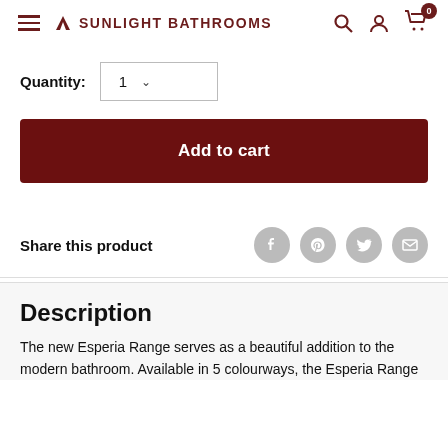SUNLIGHT BATHROOMS
Quantity: 1
Add to cart
Share this product
Description
The new Esperia Range serves as a beautiful addition to the modern bathroom. Available in 5 colourways, the Esperia Range